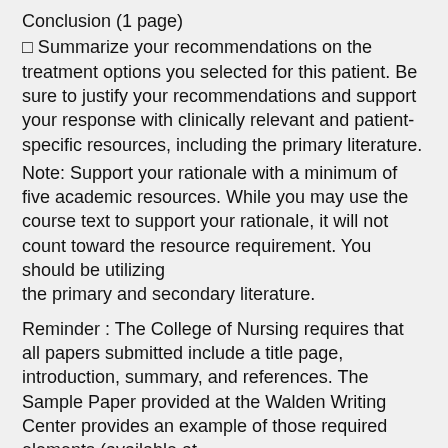Conclusion (1 page)
□ Summarize your recommendations on the treatment options you selected for this patient. Be sure to justify your recommendations and support your response with clinically relevant and patient-specific resources, including the primary literature.
Note: Support your rationale with a minimum of five academic resources. While you may use the course text to support your rationale, it will not count toward the resource requirement. You should be utilizing the primary and secondary literature.
Reminder : The College of Nursing requires that all papers submitted include a title page, introduction, summary, and references. The Sample Paper provided at the Walden Writing Center provides an example of those required elements (available at https://academicguides.waldenu.edu/writingcenter/te